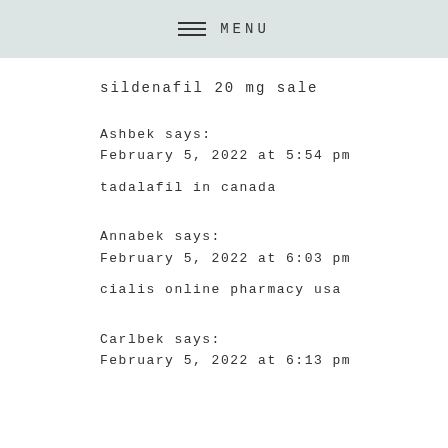MENU
sildenafil 20 mg sale
Ashbek says:
February 5, 2022 at 5:54 pm

tadalafil in canada
Annabek says:
February 5, 2022 at 6:03 pm

cialis online pharmacy usa
Carlbek says:
February 5, 2022 at 6:13 pm